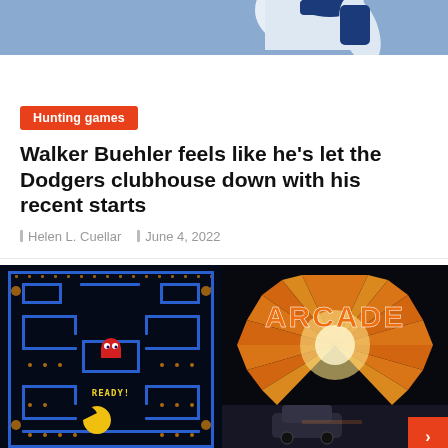[Figure (photo): Baseball player in blue Dodgers uniform pitching, cropped at top of page]
Hunting games
Walker Buehler feels like he's let the Dodgers clubhouse down with his recent starts
Helen L. Cuellar   June 4, 2022
[Figure (photo): Split image: left side shows Pac-Man arcade game screen with READY! message and ghost; right side shows illuminated ARCADE sign with orange/yellow sunburst design]